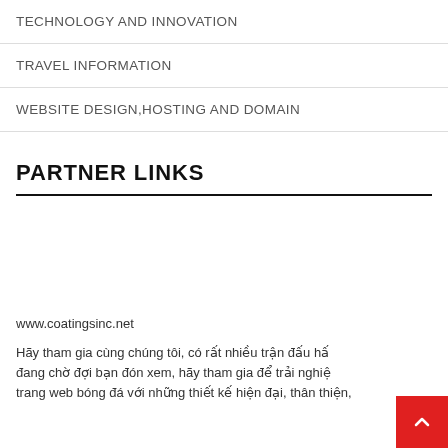TECHNOLOGY AND INNOVATION
TRAVEL INFORMATION
WEBSITE DESIGN,HOSTING AND DOMAIN
PARTNER LINKS
www.coatingsinc.net
Hãy tham gia cùng chúng tôi, có rất nhiều trận đấu hấp dẫn đang chờ đợi bạn đón xem, hãy tham gia để trải nghiệm trang web bóng đá với những thiết kế hiện đại, thân thiện,